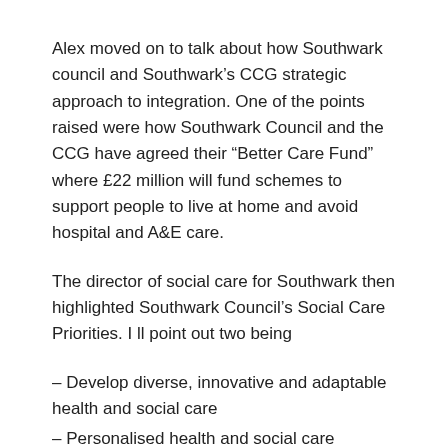Alex moved on to talk about how Southwark council and Southwark’s CCG strategic approach to integration. One of the points raised were how Southwark Council and the CCG have agreed their “Better Care Fund” where £22 million will fund schemes to support people to live at home and avoid hospital and A&E care.
The director of social care for Southwark then highlighted Southwark Council’s Social Care Priorities. I ll point out two being
– Develop diverse, innovative and adaptable health and social care
– Personalised health and social care services that are able to follow a resident through their lifetime.
Alex then talked about Southwark councils objectives for